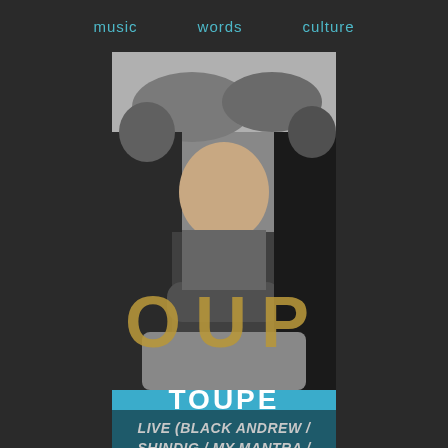music   words   culture
[Figure (photo): Black and white photo of three men sitting on a couch or bench outdoors. The central figure is a heavyset man with arms crossed, looking upward. Overlaid text reads 'OUP' in large golden letters across the middle of the image.]
TOUPE
LIVE (BLACK ANDREW / SHINDIG / MY MANTRA / MURMUR / RIVAL JOUSTAS)